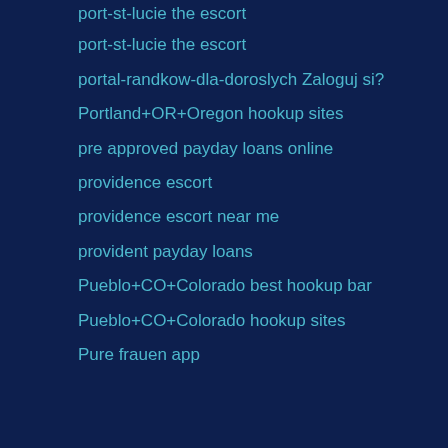port-st-lucie the escort
portal-randkow-dla-doroslych Zaloguj si?
Portland+OR+Oregon hookup sites
pre approved payday loans online
providence escort
providence escort near me
provident payday loans
Pueblo+CO+Colorado best hookup bar
Pueblo+CO+Colorado hookup sites
Pure frauen app